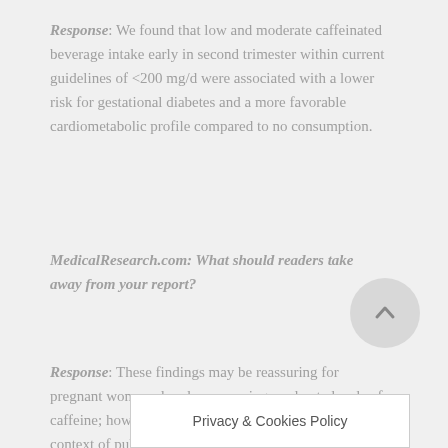Response: We found that low and moderate caffeinated beverage intake early in second trimester within current guidelines of <200 mg/d were associated with a lower risk for gestational diabetes and a more favorable cardiometabolic profile compared to no consumption.
MedicalResearch.com: What should readers take away from your report?
Response: These findings may be reassuring for pregnant women already consuming moderate levels of caffeine; however, they should be considered in the context of publis... with offspring health...